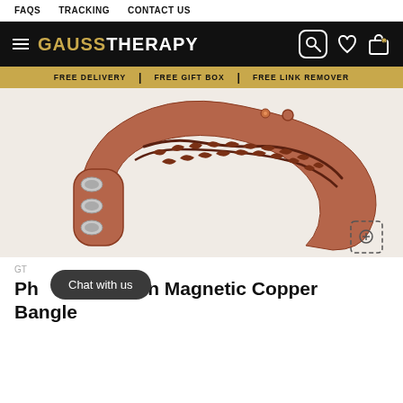FAQS   TRACKING   CONTACT US
GAUSSTHERAPY
FREE DELIVERY | FREE GIFT BOX | FREE LINK REMOVER
[Figure (photo): Close-up photo of a copper magnetic bangle bracelet with dragon engraving and three embedded magnets visible on the inner surface]
GT...
Chat with us
Ph...agon Magnetic Copper Bangle